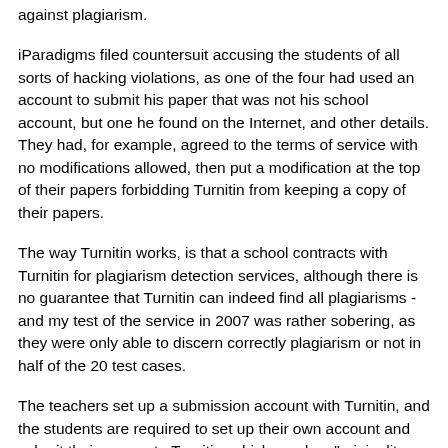against plagiarism.
iParadigms filed countersuit accusing the students of all sorts of hacking violations, as one of the four had used an account to submit his paper that was not his school account, but one he found on the Internet, and other details. They had, for example, agreed to the terms of service with no modifications allowed, then put a modification at the top of their papers forbidding Turnitin from keeping a copy of their papers.
The way Turnitin works, is that a school contracts with Turnitin for plagiarism detection services, although there is no guarantee that Turnitin can indeed find all plagiarisms - and my test of the service in 2007 was rather sobering, as they were only able to discern correctly plagiarism or not in half of the 20 test cases.
The teachers set up a submission account with Turnitin, and the students are required to set up their own account and submit their papers to Turnitin, which send an "originality report" to the teacher with the paper and keep a copy for